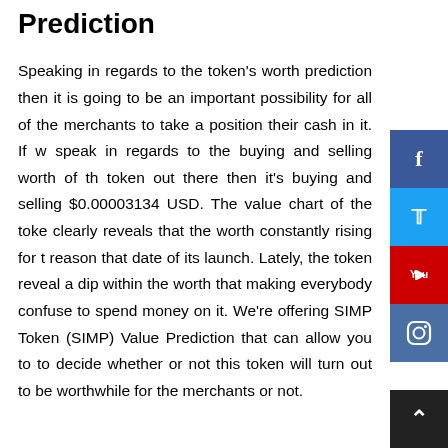Prediction
Speaking in regards to the token's worth prediction then it is going to be an important possibility for all of the merchants to take a position their cash in it. If we speak in regards to the buying and selling worth of the token out there then it's buying and selling $0.00003134 USD. The value chart of the token clearly reveals that the worth constantly rising for the reason that date of its launch. Lately, the token reveals a dip within the worth that making everybody confused to spend money on it. We're offering SIMP Token (SIMP) Value Prediction that can allow you to to decide whether or not this token will turn out to be worthwhile for the merchants or not.